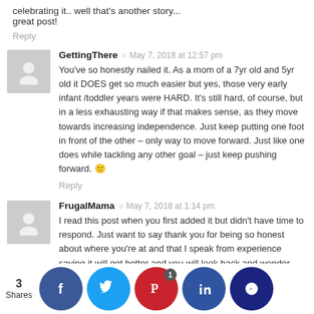celebrating it.. well that's another story...
great post!
Reply
GettingThere  ·  May 7, 2018 at 12:57 pm
You've so honestly nailed it. As a mom of a 7yr old and 5yr old it DOES get so much easier but yes, those very early infant /toddler years were HARD. It's still hard, of course, but in a less exhausting way if that makes sense, as they move towards increasing independence. Just keep putting one foot in front of the other – only way to move forward. Just like one does while tackling any other goal – just keep pushing forward. 🙂
Reply
FrugalMama  ·  May 7, 2018 at 1:14 pm
I read this post when you first added it but didn't have time to respond. Just want to say thank you for being so honest about where you're at and that I speak from experience saying it will get better and you will look back and wonder where the time w... sons a... months a... nd my m... ies of b... d... s infa... ust a b... do re... one
3 Shares